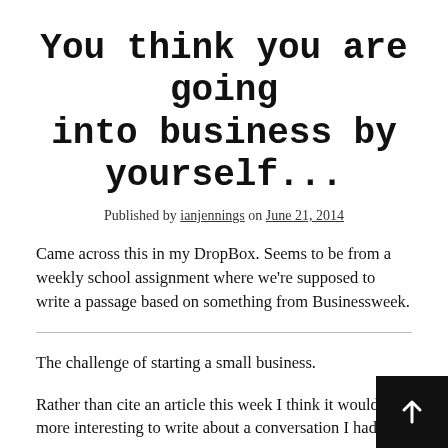You think you are going into business by yourself...
Published by ianjennings on June 21, 2014
Came across this in my DropBox. Seems to be from a weekly school assignment where we're supposed to write a passage based on something from Businessweek.
The challenge of starting a small business.
Rather than cite an article this week I think it would be more interesting to write about a conversation I had